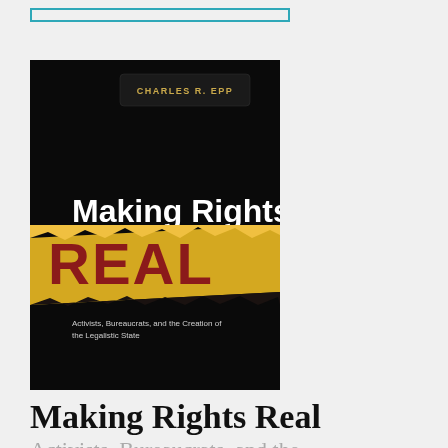[Figure (illustration): Book cover of 'Making Rights Real: Activists, Bureaucrats, and the Creation of the Legalistic State' by Charles R. Epp. Black background with white text 'Making Rights' and a torn paper effect revealing golden/yellow background with large dark red text 'REAL'. Bottom has subtitle text in white. Author name in gold at top.]
Making Rights Real
Activists, Bureaucrats, and the